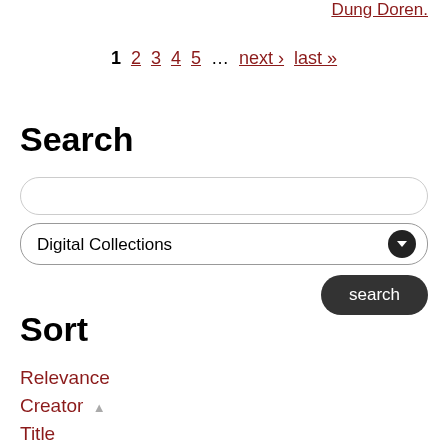Dung Doren.
1  2  3  4  5  ...  next›  last»
Search
Digital Collections
search
Sort
Relevance
Creator ▲
Title
Date